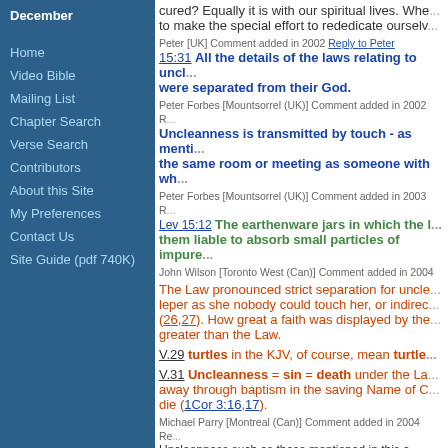December
Home
Video Bible
Mailing List
Chapter Search
Verse Search
Contributors
About this Site
My Preferences
Contact Us
Site Guide (pdf 740K)
cured? Equally it is with our spiritual lives. When we... to make the special effort to rededicate ourselv...
Peter [UK]  Comment added in 2002  Reply to Peter
15:31 All the details of the laws relating to uncl... were separated from their God.
Peter Forbes [Mountsorrel (UK)]  Comment added in 2002
Uncleanness is transmitted by touch - as menti... the same room or meeting as someone with wh...
Peter Forbes [Mountsorrel (UK)]  Comment added in 2003
Lev 15:12  The earthenware jars in which the l... them liable to absorb small particles of impure...
John Wilson [Toronto West (Can)]  Comment added in 2004
The Law pronounced strict separation for uncle... leper as she nobody could touch her, or indirec... (26,27). How great a faith was displayed by the... greater than the Law.
V.29 turtles in the KJV, of course, mean turtle...
V.31 Uncleanness = sin = death under the La... away through baptism in the saving Name of C... die (1Cor 3:16,17).
Michael Parry [Montreal (Can)]  Comment added in 2004
Uncleanness such as these mentioned in this c... to be cleansed only through "the Priest" = Jesu... which befell the woman who came to Jesus as...
David Simpson [Worcester (UK)]  Comment added in 2004
15:5-12 The repeated point that touching anyth...